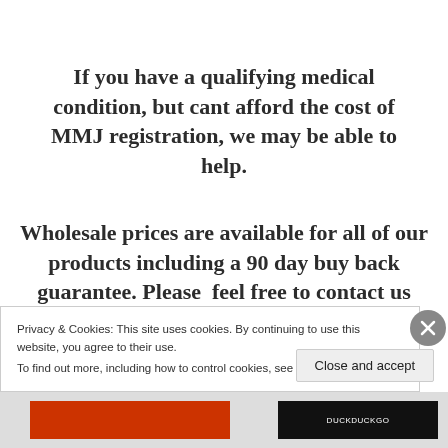If you have a qualifying medical condition, but cant afford the cost of MMJ registration, we may be able to help.
Wholesale prices are available for all of our products including a 90 day buy back guarantee. Please  feel free to contact us 24/7 with any questions.
Privacy & Cookies: This site uses cookies. By continuing to use this website, you agree to their use.
To find out more, including how to control cookies, see here: Cookie Policy
Close and accept